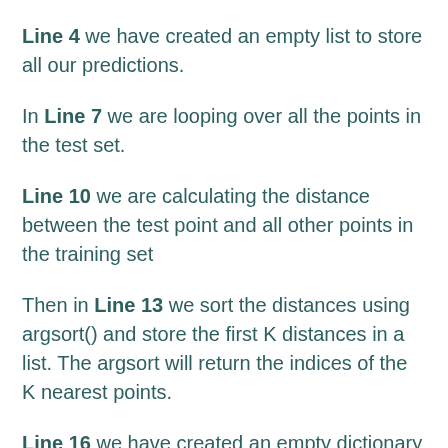Line 4 we have created an empty list to store all our predictions.
In Line 7 we are looping over all the points in the test set.
Line 10 we are calculating the distance between the test point and all other points in the training set
Then in Line 13 we sort the distances using argsort() and store the first K distances in a list. The argsort will return the indices of the K nearest points.
Line 16 we have created an empty dictionary that stores the neighbors and its count.